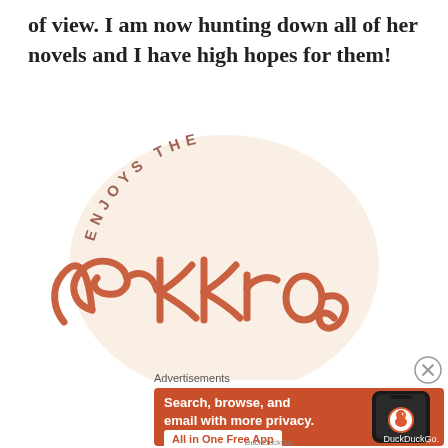of view. I am now hunting down all of her novels and I have high hopes for them!
[Figure (logo): Enjoys the Ekkro logo - stylized cursive text reading 'Ekkro' with arched text 'ENJOYS THE' above it, on a pale peach circular background. Color is terracotta/salmon.]
Advertisements
[Figure (screenshot): DuckDuckGo advertisement banner with orange background. Text: 'Search, browse, and email with more privacy. All in One Free App'. Shows DuckDuckGo logo and a smartphone mockup.]